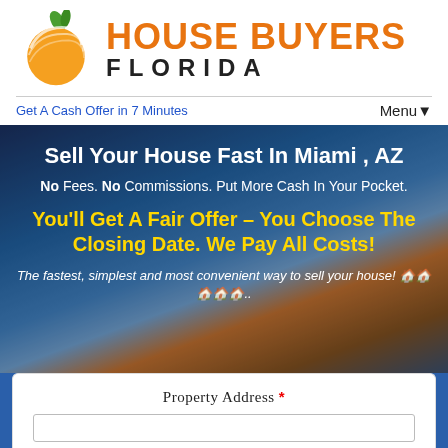[Figure (logo): House Buyers Florida logo: orange circular fruit icon with green leaf, text 'HOUSE BUYERS' in orange bold letters and 'FLORIDA' in dark grey spaced letters]
Get A Cash Offer in 7 Minutes
Menu▾
Sell Your House Fast In Miami , AZ
No Fees. No Commissions. Put More Cash In Your Pocket.
You'll Get A Fair Offer – You Choose The Closing Date. We Pay All Costs!
The fastest, simplest and most convenient way to sell your house! 🏠🏠🏠🏠🏠..
Property Address *